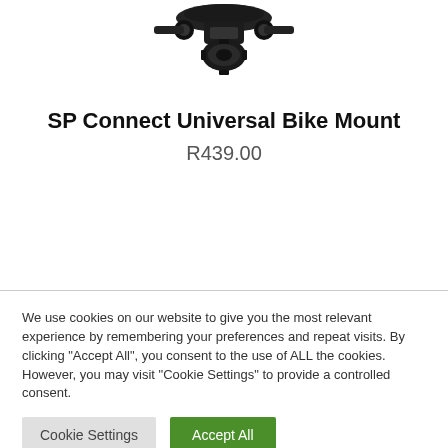[Figure (photo): Partial product photo of SP Connect Universal Bike Mount, showing a black metal/plastic bike mount hardware component against a white background (cropped at top).]
SP Connect Universal Bike Mount
R439.00
We use cookies on our website to give you the most relevant experience by remembering your preferences and repeat visits. By clicking “Accept All”, you consent to the use of ALL the cookies. However, you may visit “Cookie Settings” to provide a controlled consent.
Cookie Settings
Accept All